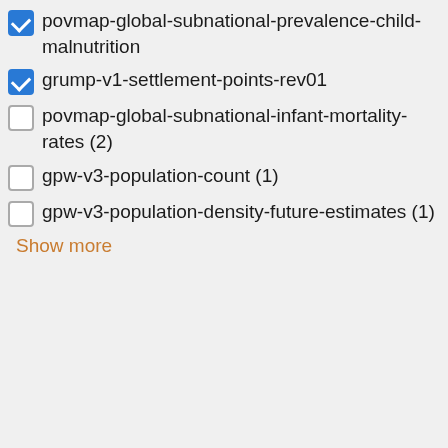povmap-global-subnational-prevalence-child-malnutrition (checked)
grump-v1-settlement-points-rev01 (checked)
povmap-global-subnational-infant-mortality-rates (2) (unchecked)
gpw-v3-population-count (1) (unchecked)
gpw-v3-population-density-future-estimates (1) (unchecked)
Show more